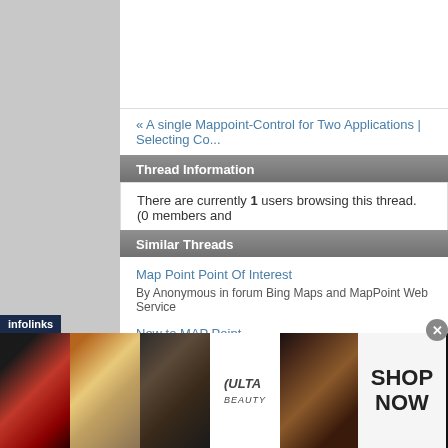« A single Mappoint-Control for Two Applications | Selecting Co...
Thread Information
There are currently 1 users browsing this thread. (0 members and
Similar Threads
Map Point Point Of Interest
By Anonymous in forum Bing Maps and MapPoint Web Service
New to MAP Point
By Deepak in forum MapPoint Desktop Discussion
How can I find nearest point on a road from a point off-road
By Anonymous in forum MapPoint Desktop Discussion
I am new to Map Point, and I am looking for the to....
By Anonymous in forum MapPoint Desktop Discussion
[Figure (infographic): Infolinks ad banner at bottom showing ULTA Beauty advertisement with makeup images and SHOP NOW text]